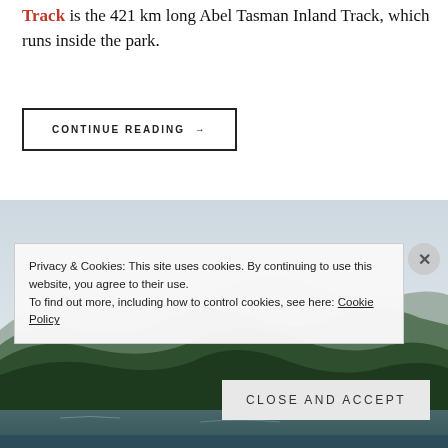Track is the 421 km long Abel Tasman Inland Track, which runs inside the park.
CONTINUE READING →
[Figure (photo): Scenic photo of forested hills and calm water under an overcast sky, Abel Tasman National Park, New Zealand]
Privacy & Cookies: This site uses cookies. By continuing to use this website, you agree to their use. To find out more, including how to control cookies, see here: Cookie Policy
Close and accept